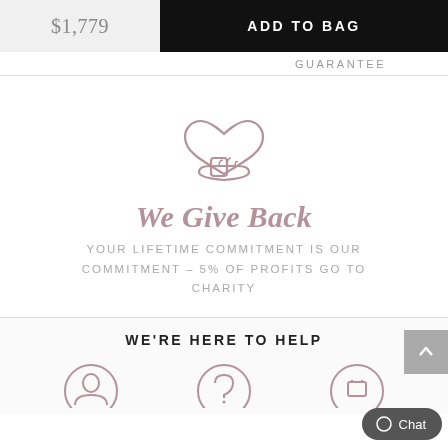$1,779
ADD TO BAG
GUARANTEE
[Figure (illustration): A hand holding a heart icon, representing charitable giving]
We Give Back
YOUR LIFETIME COMMITMENT IS OUR COMMITMENT – 5% OF PROFITS GO TO CHARITY
WE'RE HERE TO HELP
[Figure (illustration): Three help/service icons partially visible at the bottom]